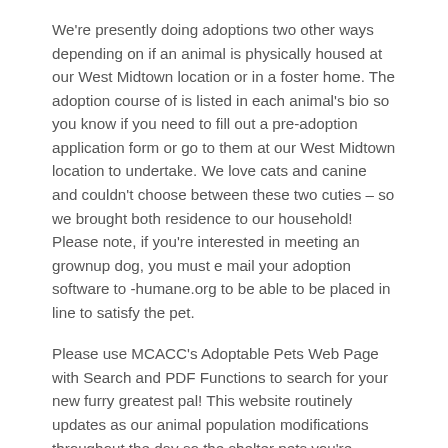We're presently doing adoptions two other ways depending on if an animal is physically housed at our West Midtown location or in a foster home. The adoption course of is listed in each animal's bio so you know if you need to fill out a pre-adoption application form or go to them at our West Midtown location to undertake. We love cats and canine and couldn't choose between these two cuties – so we brought both residence to our household! Please note, if you're interested in meeting an grownup dog, you must e mail your adoption software to -humane.org to be able to be placed in line to satisfy the pet.
Please use MCACC's Adoptable Pets Web Page with Search and PDF Functions to search for your new furry greatest pal! This website routinely updates as our animal population modifications throughout the day so the shelter pets you're looking at proper now will not be out there by the point of your appointment.